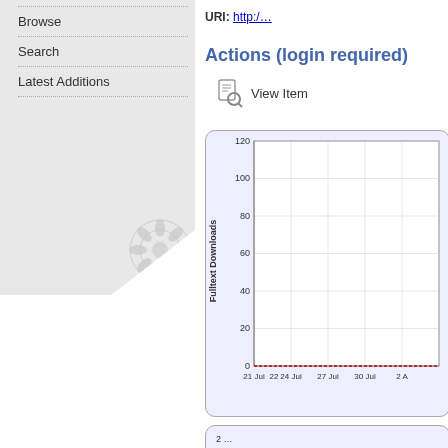Browse
Search
Latest Additions
URI: http://…
Actions (login required)
View Item
[Figure (line-chart): Fulltext Downloads]
[Figure (line-chart): Partial second chart at bottom of page]